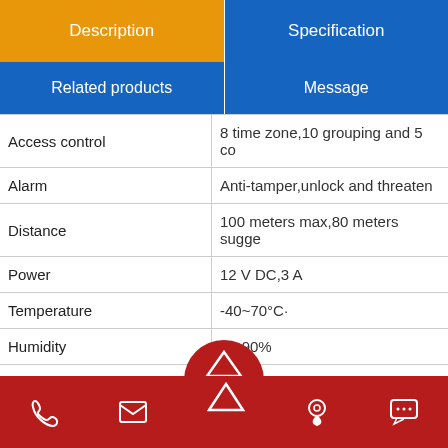| Description | Specification |
| --- | --- |
| Related products | Message |
| Access control | 8 time zone,10 grouping and 5 co... |
| Alarm | Anti-tamper,unlock and threaten... |
| Distance | 100 meters max,80 meters sugg... |
| Power | 12 V DC,3 A |
| Temperature | -40~70°C· |
| Humidity | 10-90% |
| Database | Access and SQL |
| Software | Huifan ARM9 |
| SDK | Available |